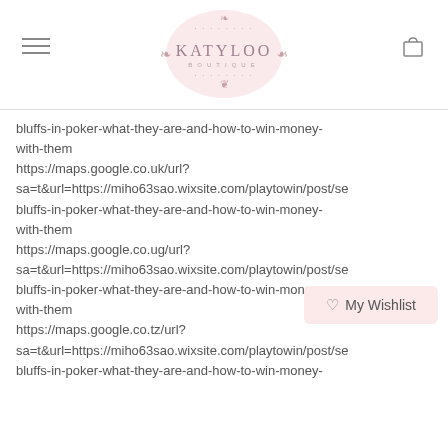KATYLOO BOUTIQUE
bluffs-in-poker-what-they-are-and-how-to-win-money-with-them https://maps.google.co.uk/url?sa=t&url=https://miho63sao.wixsite.com/playtowin/post/se bluffs-in-poker-what-they-are-and-how-to-win-money-with-them https://maps.google.co.ug/url?sa=t&url=https://miho63sao.wixsite.com/playtowin/post/se bluffs-in-poker-what-they-are-and-how-to-win-money-with-them https://maps.google.co.tz/url?sa=t&url=https://miho63sao.wixsite.com/playtowin/post/se bluffs-in-poker-what-they-are-and-how-to-win-money-